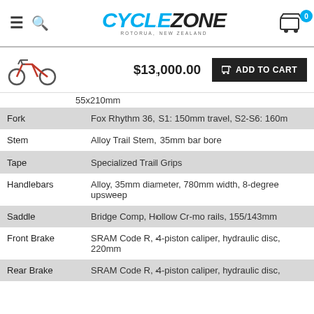CYCLEZONE ROTORUA, NEW ZEALAND — navigation header with cart (0)
$13,000.00
ADD TO CART
| Component | Specification |
| --- | --- |
|  | 55x210mm |
| Fork | Fox Rhythm 36, S1: 150mm travel, S2-S6: 160m... |
| Stem | Alloy Trail Stem, 35mm bar bore |
| Tape | Specialized Trail Grips |
| Handlebars | Alloy, 35mm diameter, 780mm width, 8-degree upsweep |
| Saddle | Bridge Comp, Hollow Cr-mo rails, 155/143mm... |
| Front Brake | SRAM Code R, 4-piston caliper, hydraulic disc, 220mm |
| Rear Brake | SRAM Code R, 4-piston caliper, hydraulic disc,... |